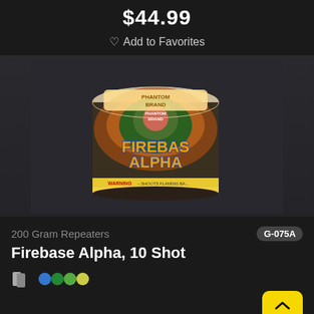$44.99
♡ Add to Favorites
[Figure (photo): Product photo of Firebase Alpha 10 Shot firework — a cylindrical cake firework with Phantom Brand label showing 'FIREBASE ALPHA' in large text, with firework explosion imagery on the label, against a dark gray background.]
200 Gram Repeaters
G-075A
Firebase Alpha, 10 Shot
TOP